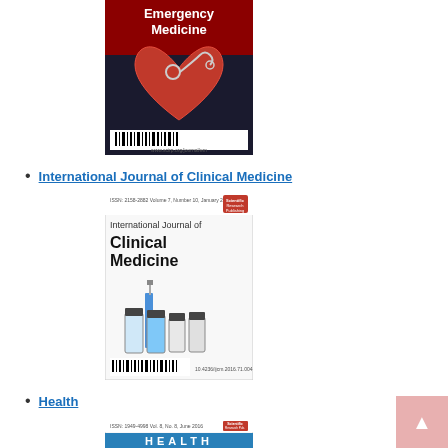[Figure (illustration): Cover of Emergency Medicine journal showing a red heart with stethoscope on dark background with barcode at bottom]
International Journal of Clinical Medicine
[Figure (illustration): Cover of International Journal of Clinical Medicine showing medical vials and syringe with journal title text]
Health
[Figure (illustration): Partial cover of Health journal showing top portion with Scientific Research Publishing logo and beginning of HEALTH title text in blue]